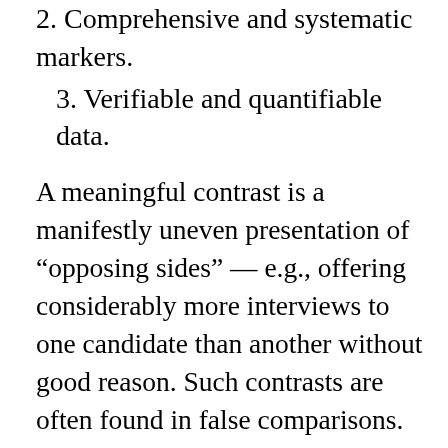2. Comprehensive and systematic markers.
3. Verifiable and quantifiable data.
A meaningful contrast is a manifestly uneven presentation of “opposing sides” — e.g., offering considerably more interviews to one candidate than another without good reason. Such contrasts are often found in false comparisons. But wait. Didn’t we already say that a great deal of the (mostly anecdotal) “evidence” presented for “liberal bias” is largely inadmissible because it relies on false equivalence? Yes, but there are two circumstances under which such a false